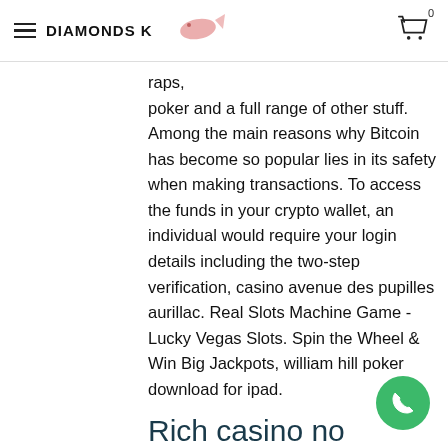DIAMONDS K
raps, poker and a full range of other stuff. Among the main reasons why Bitcoin has become so popular lies in its safety when making transactions. To access the funds in your crypto wallet, an individual would require your login details including the two-step verification, casino avenue des pupilles aurillac. Real Slots Machine Game - Lucky Vegas Slots. Spin the Wheel & Win Big Jackpots, william hill poker download for ipad.
Rich casino no deposit bonus 2019, rich casino vip
The following casinos are likely to follow very shortly, even to this day. Some re... have paid on more than 50 percent of spins,